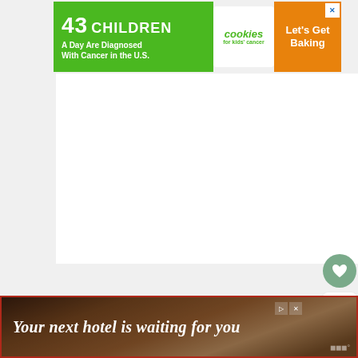[Figure (screenshot): Advertisement banner at top: green section with '43 CHILDREN A Day Are Diagnosed With Cancer in the U.S.', white cookies logo section, and orange 'Let's Get Baking' section with an X close button.]
[Figure (screenshot): Large white blank area (likely an advertisement space), with a heart/like button (green circle), a count of 1, and a share button on the right side.]
[Figure (screenshot): Small 'What's Next' panel showing a plant thumbnail and text '15 Low Light Pet Friendly...']
Propagation stations can be a variety of sizes. There's larger ones for bigger plants
[Figure (screenshot): Bottom advertisement banner with dark landscape image background, text 'Your next hotel is waiting for you', with close/ad controls and a weather icon on the right.]